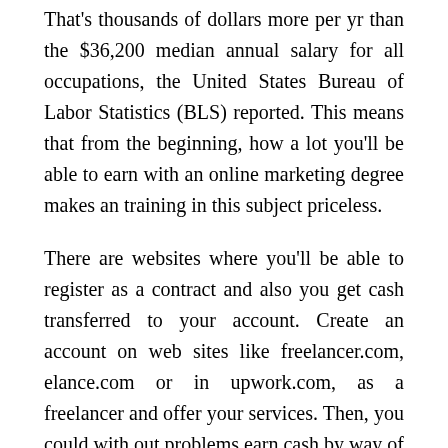That's thousands of dollars more per yr than the $36,200 median annual salary for all occupations, the United States Bureau of Labor Statistics (BLS) reported. This means that from the beginning, how a lot you'll be able to earn with an online marketing degree makes an training in this subject priceless.
There are websites where you'll be able to register as a contract and also you get cash transferred to your account. Create an account on web sites like freelancer.com, elance.com or in upwork.com, as a freelancer and offer your services. Then, you could with out problems earn cash by way of digital marketing. If you technically sound and perceive the way to design a web site and preserve it to make it